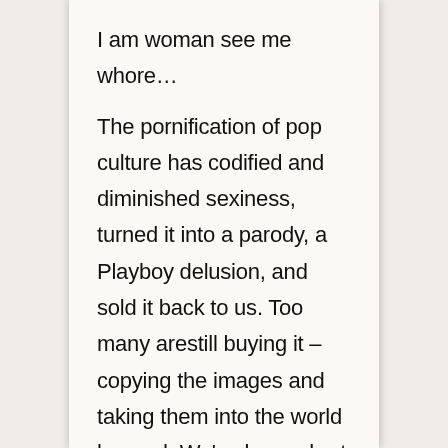I am woman see me whore…
The pornification of pop culture has codified and diminished sexiness, turned it into a parody, a Playboy delusion, and sold it back to us. Too many arestill buying it – copying the images and taking them into the world beyond. We've been short changed. Sexuality and its healthy expression are normal – stripping it of the possibility of intimacy, connection and emotion and adopting it as a public identity